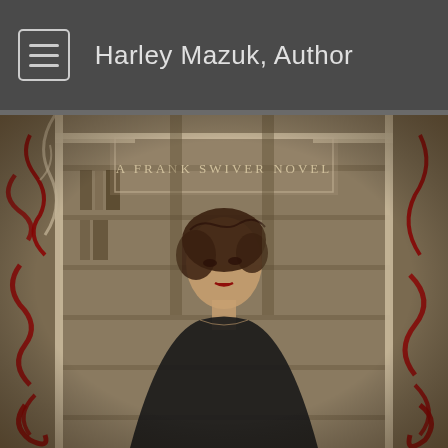Harley Mazuk, Author
[Figure (illustration): Book cover for 'A Frank Swiver Novel' featuring an Art Nouveau style border with red swirling decorative elements, and a woman with short dark wavy hair wearing a black top, set against a background of bookshelves. The text 'A Frank Swiver Novel' appears at the top center of the cover.]